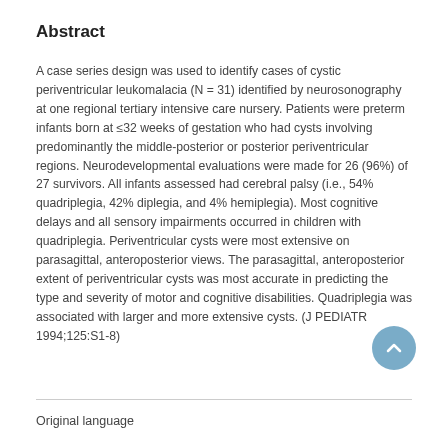Abstract
A case series design was used to identify cases of cystic periventricular leukomalacia (N = 31) identified by neurosonography at one regional tertiary intensive care nursery. Patients were preterm infants born at ≤32 weeks of gestation who had cysts involving predominantly the middle-posterior or posterior periventricular regions. Neurodevelopmental evaluations were made for 26 (96%) of 27 survivors. All infants assessed had cerebral palsy (i.e., 54% quadriplegia, 42% diplegia, and 4% hemiplegia). Most cognitive delays and all sensory impairments occurred in children with quadriplegia. Periventricular cysts were most extensive on parasagittal, anteroposterior views. The parasagittal, anteroposterior extent of periventricular cysts was most accurate in predicting the type and severity of motor and cognitive disabilities. Quadriplegia was associated with larger and more extensive cysts. (J PEDIATR 1994;125:S1-8)
Original language